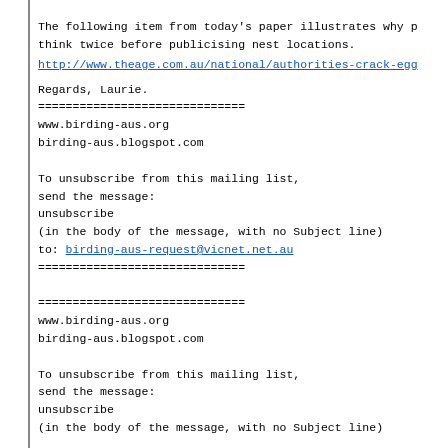The following item from today's paper illustrates why p
think twice before publicising nest locations.
http://www.theage.com.au/national/authorities-crack-egg
Regards, Laurie.
==============================
www.birding-aus.org
birding-aus.blogspot.com

To unsubscribe from this mailing list,
send the message:
unsubscribe
(in the body of the message, with no Subject line)
to: birding-aus-request@vicnet.net.au
==============================

==============================
www.birding-aus.org
birding-aus.blogspot.com

To unsubscribe from this mailing list,
send the message:
unsubscribe
(in the body of the message, with no Subject line)